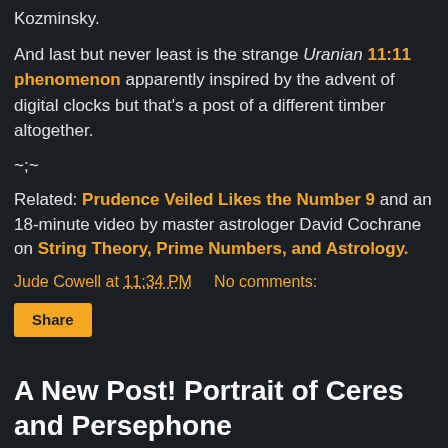Kozminsky.
And last but never least is the strange Uranian 11:11 phenomenon apparently inspired by the advent of digital clocks but that's a post of a different timber altogether.
~;~
Related: Prudence Veiled Likes the Number 9 and an 18-minute video by master astrologer David Cochrane on String Theory, Prime Numbers, and Astrology.
Jude Cowell at 11:34 PM   No comments:
Share
A New Post! Portrait of Ceres and Persephone